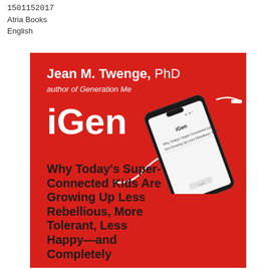1501152017
Atria Books
English
[Figure (illustration): Book cover of iGen by Jean M. Twenge PhD. Red background with large white and black text. Shows a smartphone with the book title displayed on screen, with a charging cable wrapping around. Title text: iGen – Why Today's Super-Connected Kids Are Growing Up Less Rebellious, More Tolerant, Less Happy—and Completely...]